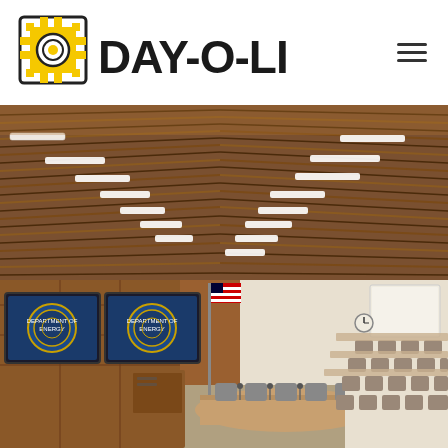[Figure (logo): Day-O-Lite logo with sun/gear icon and bold text DAY-O-LITE]
[Figure (photo): Interior photo of a government conference room with wooden slat ceiling, recessed linear LED lighting fixtures arranged in staggered pattern, two large monitors on wood paneling showing Department of Energy seal, a podium, US flag, long conference table with chairs, and rows of auditorium seating on the right side]